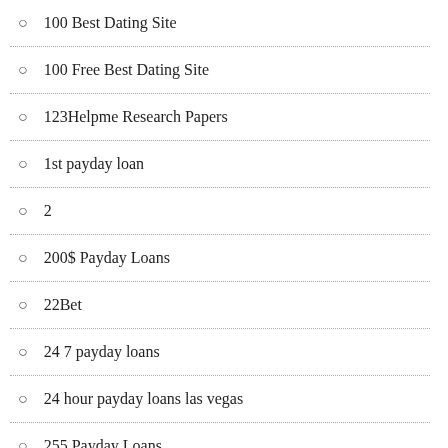100 Best Dating Site
100 Free Best Dating Site
123Helpme Research Papers
1st payday loan
2
200$ Payday Loans
22Bet
24 7 payday loans
24 hour payday loans las vegas
255 Payday Loans
2nd chance installment loans
3